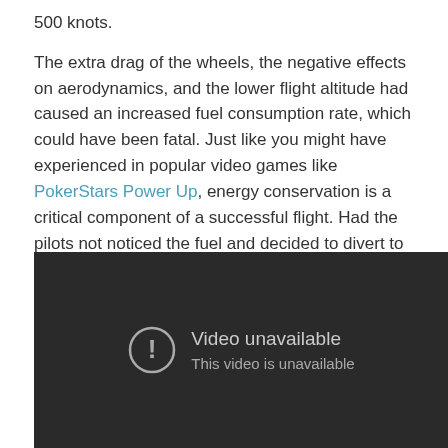500 knots. The extra drag of the wheels, the negative effects on aerodynamics, and the lower flight altitude had caused an increased fuel consumption rate, which could have been fatal. Just like you might have experienced in popular video games like PokerStars Power Up, energy conservation is a critical component of a successful flight. Had the pilots not noticed the fuel and decided to divert to the closer airport at Nagpur, the outcome could have been very different. It was on final approach to Nagpur when the flight crew went to lower the gear that they realized that it was already extended.
[Figure (screenshot): Embedded video player showing a dark background with a 'Video unavailable' message and an exclamation mark icon. Text reads: 'Video unavailable' and 'This video is unavailable'.]